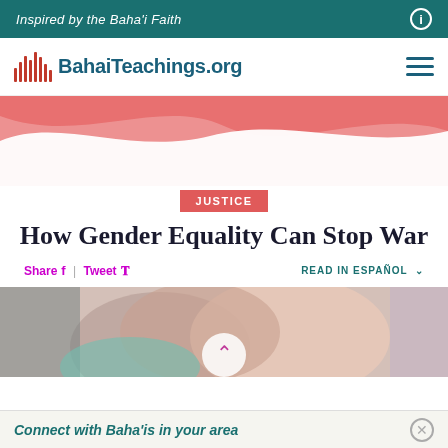Inspired by the Baha'i Faith
[Figure (logo): BahaiTeachings.org logo with vertical bar icon and site name]
[Figure (illustration): Pink and red wave banner decorative element]
JUSTICE
How Gender Equality Can Stop War
Share | Tweet   READ IN ESPAÑOL
[Figure (photo): Hands clasped together, diverse skin tones, close-up photo]
Connect with Baha'is in your area